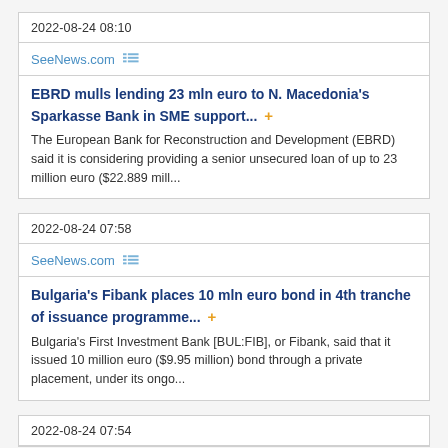2022-08-24 08:10
SeeNews.com
EBRD mulls lending 23 mln euro to N. Macedonia's Sparkasse Bank in SME support...
The European Bank for Reconstruction and Development (EBRD) said it is considering providing a senior unsecured loan of up to 23 million euro ($22.889 mill...
2022-08-24 07:58
SeeNews.com
Bulgaria's Fibank places 10 mln euro bond in 4th tranche of issuance programme...
Bulgaria's First Investment Bank [BUL:FIB], or Fibank, said that it issued 10 million euro ($9.95 million) bond through a private placement, under its ongo...
2022-08-24 07:54